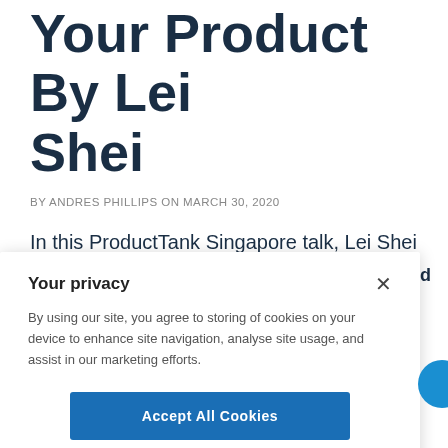Your Product By Lei Shei
BY ANDRES PHILLIPS ON MARCH 30, 2020
In this ProductTank Singapore talk, Lei Shei of Elephant Media explains the value that can be found on YouTube and how a YouTube channel can be used as a servant to your product. Lei's YouTube
Your privacy
By using our site, you agree to storing of cookies on your device to enhance site navigation, analyse site usage, and assist in our marketing efforts.
Accept All Cookies